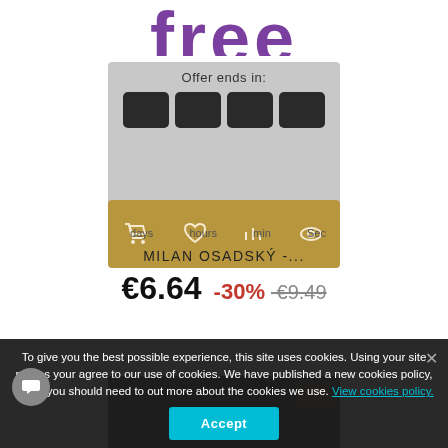free
[Figure (screenshot): Countdown timer widget with 'Offer ends in:' label and four dark rounded boxes, overlaid by a gold/brown toolbar bar with icons: cart, heart, bar chart, and eye]
MILAN OSADSKÝ -...
€6.64 -30% €9.49
[Figure (screenshot): Partially visible dark product image with small brownish thumbnail in top-right corner]
To give you the best possible experience, this site uses cookies. Using your site means your agree to our use of cookies. We have published a new cookies policy, which you should need to out more about the cookies we use. View cookies policy.
Accept